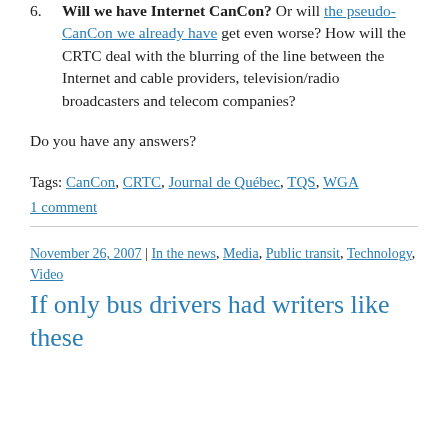6. Will we have Internet CanCon? Or will the pseudo-CanCon we already have get even worse? How will the CRTC deal with the blurring of the line between the Internet and cable providers, television/radio broadcasters and telecom companies?
Do you have any answers?
Tags: CanCon, CRTC, Journal de Québec, TQS, WGA
1 comment
November 26, 2007 | In the news, Media, Public transit, Technology, Video
If only bus drivers had writers like these